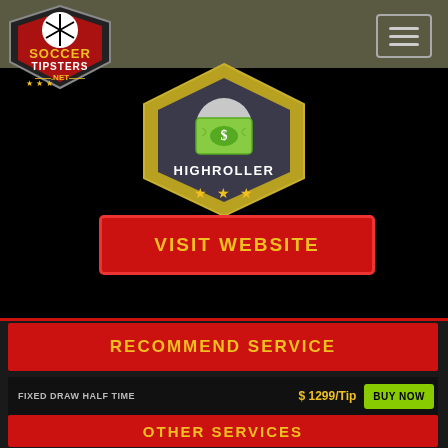[Figure (logo): Soccer Tipsters .net logo with soccer ball, shield shape, stars, red and black colors]
[Figure (infographic): HIGHROLLER badge/emblem with money icon, gold hexagonal shape, three gold stars, on dark background]
[Figure (other): VISIT WEBSITE button, red rectangle with yellow bold text]
RECOMMEND SERVICE
FIXED DRAW HALF TIME  $ 1299/Tip
[Figure (other): BUY NOW button, green rectangle with black bold text]
WIN
WIN
WIN
WIN
WIN
OTHER SERVICES